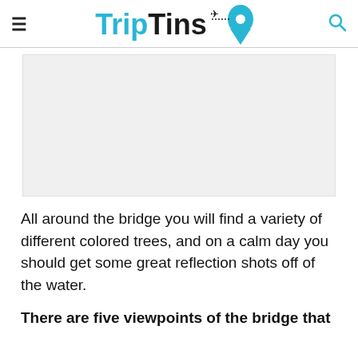TripTins
[Figure (photo): Gray placeholder image area for a photo of a bridge with colored trees and water reflections]
All around the bridge you will find a variety of different colored trees, and on a calm day you should get some great reflection shots off of the water.
There are five viewpoints of the bridge that